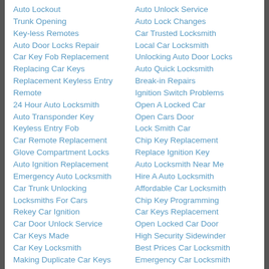Auto Lockout
Trunk Opening
Key-less Remotes
Auto Door Locks Repair
Car Key Fob Replacement
Replacing Car Keys
Replacement Keyless Entry Remote
24 Hour Auto Locksmith
Auto Transponder Key
Keyless Entry Fob
Car Remote Replacement
Glove Compartment Locks
Auto Ignition Replacement
Emergency Auto Locksmith
Car Trunk Unlocking
Locksmiths For Cars
Rekey Car Ignition
Car Door Unlock Service
Car Keys Made
Car Key Locksmith
Making Duplicate Car Keys
Auto Keyless Entry
Key-less Entry Repairs
Auto Unlock Service
Auto Lock Changes
Car Trusted Locksmith
Local Car Locksmith
Unlocking Auto Door Locks
Auto Quick Locksmith
Break-in Repairs
Ignition Switch Problems
Open A Locked Car
Open Cars Door
Lock Smith Car
Chip Key Replacement
Replace Ignition Key
Auto Locksmith Near Me
Hire A Auto Locksmith
Affordable Car Locksmith
Chip Key Programming
Car Keys Replacement
Open Locked Car Door
High Security Sidewinder
Best Prices Car Locksmith
Emergency Car Locksmith
Emergency Ignition Keys
Making Keys For Cars